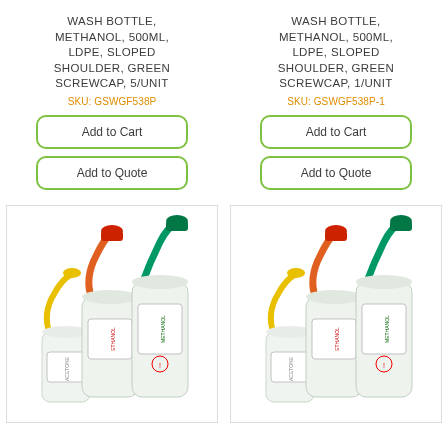WASH BOTTLE, METHANOL, 500ML, LDPE, SLOPED SHOULDER, GREEN SCREWCAP, 5/UNIT
SKU: GSWGF538P
WASH BOTTLE, METHANOL, 500ML, LDPE, SLOPED SHOULDER, GREEN SCREWCAP, 1/UNIT
SKU: GSWGF538P-1
[Figure (photo): Three lab wash bottles with colored screwcaps (yellow, orange/red, green) and curved nozzles]
[Figure (photo): Three lab wash bottles with colored screwcaps (yellow, orange/red, green) and curved nozzles]